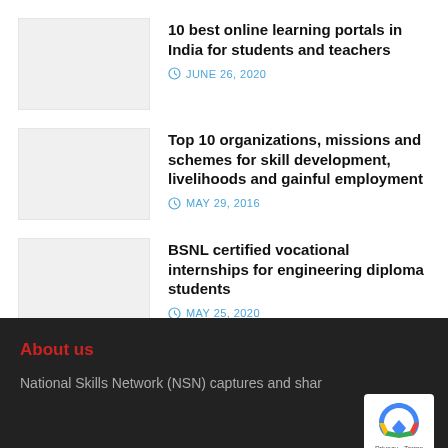10 best online learning portals in India for students and teachers — JUNE 26, 2020
Top 10 organizations, missions and schemes for skill development, livelihoods and gainful employment — MAY 29, 2016
BSNL certified vocational internships for engineering diploma students — MAY 25, 2020
About us
National Skills Network (NSN) captures and shar...